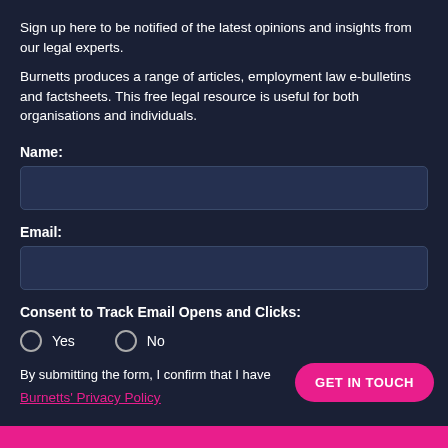Sign up here to be notified of the latest opinions and insights from our legal experts.
Burnetts produces a range of articles, employment law e-bulletins and factsheets. This free legal resource is useful for both organisations and individuals.
Name:
[Figure (other): Text input field for Name]
Email:
[Figure (other): Text input field for Email]
Consent to Track Email Opens and Clicks:
Yes   No
By submitting the form, I confirm that I have
Burnetts' Privacy Policy
GET IN TOUCH